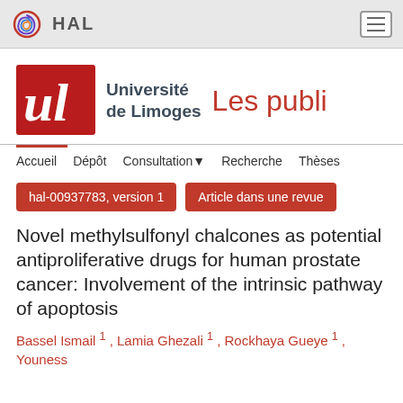HAL
[Figure (logo): Université de Limoges logo with red stylized 'ul' emblem, text 'Université de Limoges' and 'Les publi' in red]
Accueil  Dépôt  Consultation  Recherche  Thèses
hal-00937783, version 1
Article dans une revue
Novel methylsulfonyl chalcones as potential antiproliferative drugs for human prostate cancer: Involvement of the intrinsic pathway of apoptosis
Bassel Ismail 1 , Lamia Ghezali 1 , Rockhaya Gueye 1 , Youness